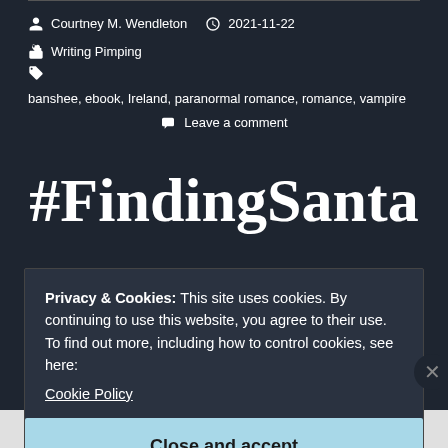Courtney M. Wendleton  2021-11-22  Writing Pimping  banshee, ebook, Ireland, paranormal romance, romance, vampire  Leave a comment
#FindingSanta
Privacy & Cookies: This site uses cookies. By continuing to use this website, you agree to their use.
To find out more, including how to control cookies, see here:
Cookie Policy
Close and accept